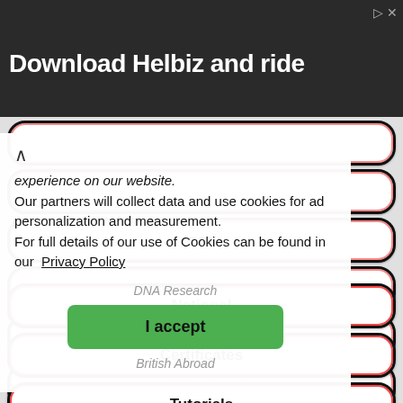[Figure (screenshot): Advertisement banner showing 'Download Helbiz and ride' text with a dark background photo]
Our partners will collect data and use cookies for ad personalization and measurement. For full details of our use of Cookies can be found in our Privacy Policy
I accept
DNA Research
British Abroad
National
Certificates
Tutorials
FAQ
Statistics